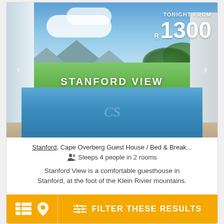[Figure (photo): A guesthouse with a swimming pool in the foreground, green fields, mountains and blue sky in the background. Shows Stanford View property.]
TONIGHT FROM
R 1300
STANFORD VIEW
Stanford, Cape Overberg Guest House / Bed & Break...
👤 Sleeps 4 people in 2 rooms
Stanford View is a comfortable guesthouse in Stanford, at the foot of the Klein Rivier mountains.
FILTER THESE RESULTS